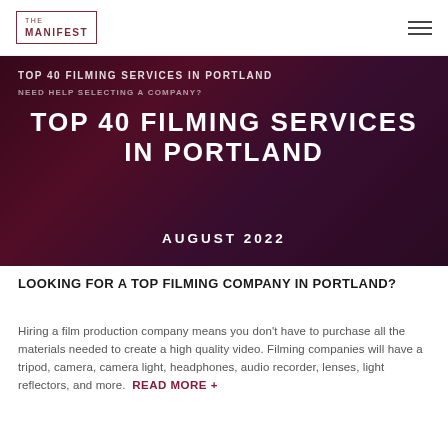THE MANIFEST
[Figure (photo): Hero image of filming services in Portland with dark red/purple overlay, showing a person at a camera setup. Overlay text reads: TOP 40 FILMING SERVICES IN PORTLAND / AUGUST 2022]
TOP 40 FILMING SERVICES IN PORTLAND
NEED HELP SELECTING A COMPANY?
TOP 40 FILMING SERVICES IN PORTLAND
AUGUST 2022
LOOKING FOR A TOP FILMING COMPANY IN PORTLAND?
Hiring a film production company means you don't have to purchase all the materials needed to create a high quality video. Filming companies will have a tripod, camera, camera light, headphones, audio recorder, lenses, light reflectors, and more. READ MORE +